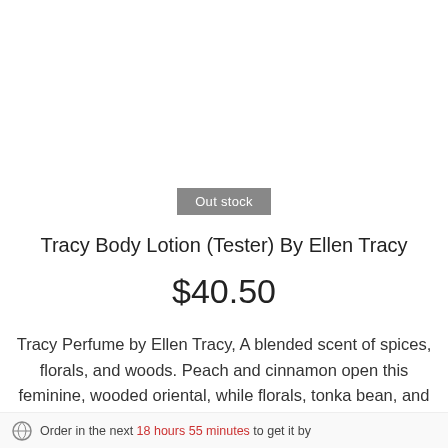Out stock
Tracy Body Lotion (Tester) By Ellen Tracy
$40.50
Tracy Perfume by Ellen Tracy, A blended scent of spices, florals, and woods. Peach and cinnamon open this feminine, wooded oriental, while florals, tonka bean, and sandalwood enhance the composition.
Order in the next 18 hours 55 minutes to get it by